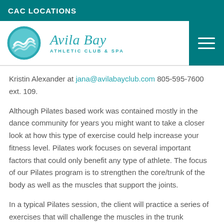CAC LOCATIONS
[Figure (logo): Avila Bay Athletic Club & Spa logo with circular wave icon and teal text]
Kristin Alexander at jana@avilabayclub.com 805-595-7600 ext. 109.
Although Pilates based work was contained mostly in the dance community for years you might want to take a closer look at how this type of exercise could help increase your fitness level. Pilates work focuses on several important factors that could only benefit any type of athlete. The focus of our Pilates program is to strengthen the core/trunk of the body as well as the muscles that support the joints.
In a typical Pilates session, the client will practice a series of exercises that will challenge the muscles in the trunk